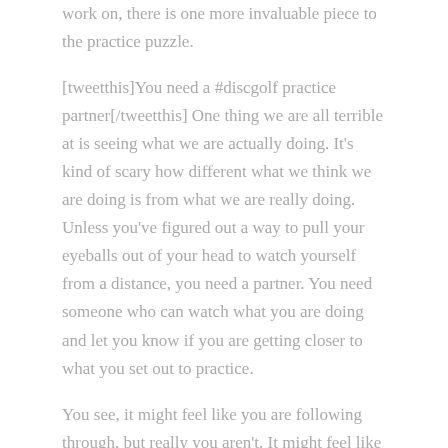work on, there is one more invaluable piece to the practice puzzle.
[tweetthis]You need a #discgolf practice partner[/tweetthis] One thing we are all terrible at is seeing what we are actually doing. It's kind of scary how different what we think we are doing is from what we are really doing. Unless you've figured out a way to pull your eyeballs out of your head to watch yourself from a distance, you need a partner. You need someone who can watch what you are doing and let you know if you are getting closer to what you set out to practice.
You see, it might feel like you are following through, but really you aren't. It might feel like you are shifting your weight, but you aren't. It might feel like you are extending through your putts, but, you guessed it, you aren't. It's not until you ask someone to watch you and give you feedback that you realize just how far you might be from your desired behavior. A good,